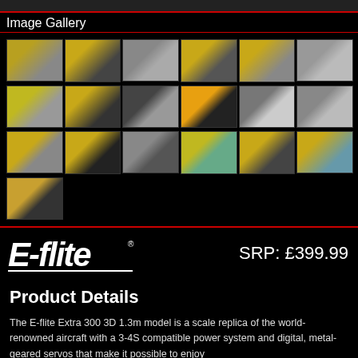Image Gallery
[Figure (photo): Image gallery grid of 19 thumbnail photos showing RC airplane (E-flite Extra 300 3D 1.3m) from various angles and in flight, including yellow and grey color scheme aircraft.]
[Figure (logo): E-flite brand logo in white italic text with underline]
SRP: £399.99
Product Details
The E-flite Extra 300 3D 1.3m model is a scale replica of the world-renowned aircraft with a 3-4S compatible power system and digital, metal-geared servos that make it possible to enjoy